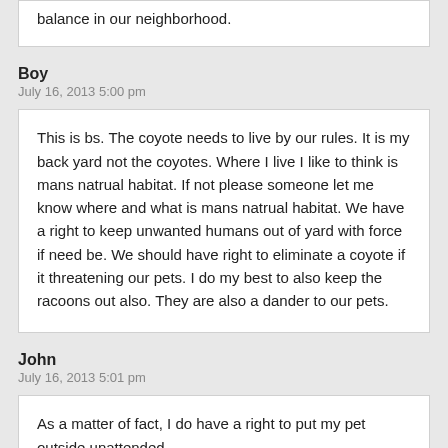balance in our neighborhood.
Boy
July 16, 2013 5:00 pm
This is bs. The coyote needs to live by our rules. It is my back yard not the coyotes. Where I live I like to think is mans natrual habitat. If not please someone let me know where and what is mans natrual habitat. We have a right to keep unwanted humans out of yard with force if need be. We should have right to eliminate a coyote if it threatening our pets. I do my best to also keep the racoons out also. They are also a dander to our pets.
John
July 16, 2013 5:01 pm
As a matter of fact, I do have a right to put my pet outside unattended, Mel.
WendyHJ
July 16, 2013 5:03 pm